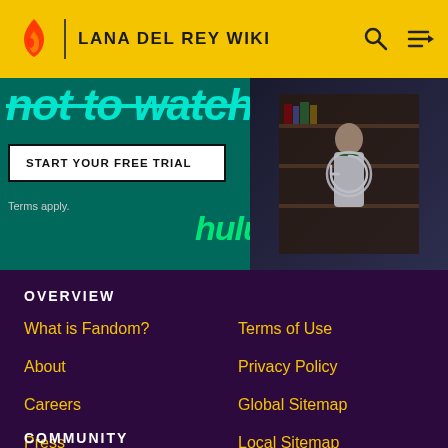LANA DEL REY WIKI
[Figure (screenshot): Hulu advertisement banner with green background, 'not to watch' text in teal, START YOUR FREE TRIAL button, Terms apply text, hulu logo, and person in school uniform on right side]
OVERVIEW
What is Fandom?
About
Careers
Press
Contact
Terms of Use
Privacy Policy
Global Sitemap
Local Sitemap
COMMUNITY